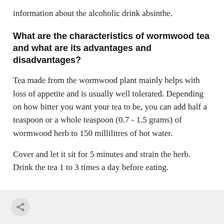information about the alcoholic drink absinthe.
What are the characteristics of wormwood tea and what are its advantages and disadvantages?
Tea made from the wormwood plant mainly helps with loss of appetite and is usually well tolerated. Depending on how bitter you want your tea to be, you can add half a teaspoon or a whole teaspoon (0.7 - 1.5 grams) of wormwood herb to 150 millilitres of hot water.
Cover and let it sit for 5 minutes and strain the herb. Drink the tea 1 to 3 times a day before eating.
[Figure (other): Share button icon in a light gray bar at the bottom of the page]